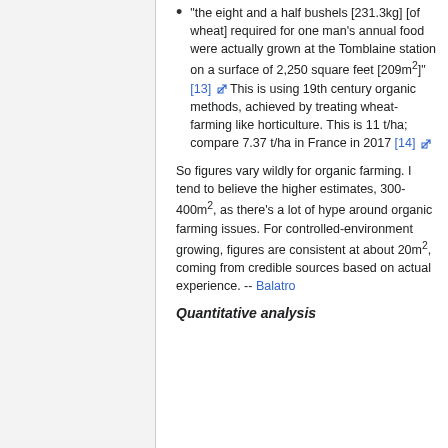"the eight and a half bushels [231.3kg] [of wheat] required for one man's annual food were actually grown at the Tomblaine station on a surface of 2,250 square feet [209m2]" [13] This is using 19th century organic methods, achieved by treating wheat-farming like horticulture. This is 11 t/ha; compare 7.37 t/ha in France in 2017 [14]
So figures vary wildly for organic farming. I tend to believe the higher estimates, 300-400m2, as there's a lot of hype around organic farming issues. For controlled-environment growing, figures are consistent at about 20m2, coming from credible sources based on actual experience. -- Balatro
Quantitative analysis